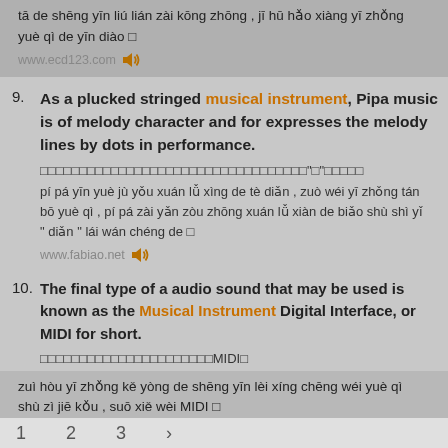tā de shēng yīn liú lián zài kōng zhōng , jī hū hǎo xiàng yī zhǒng yuè qì de yīn diào □
www.ecd123.com
9. As a plucked stringed musical instrument, Pipa music is of melody character and for expresses the melody lines by dots in performance.
□□□□□□□□□□□□□□□□□□□□□□□□□□□□□□□□□□"□"□□□□□
pí pá yīn yuè jù yǒu xuán lǚ xìng de tè diǎn , zuò wéi yī zhǒng tán bō yuè qì , pí pá zài yǎn zòu zhōng xuán lǚ xiàn de biǎo shù shì yǐ " diǎn " lái wán chéng de □
www.fabiao.net
10. The final type of a audio sound that may be used is known as the Musical Instrument Digital Interface, or MIDI for short.
□□□□□□□□□□□□□□□□□□□□MIDI□
zuì hòu yī zhǒng kě yòng de shēng yīn lèi xíng chēng wéi yuè qì shù zì jiē kǒu , suō xiě wèi MIDI □
www.acsf.cn